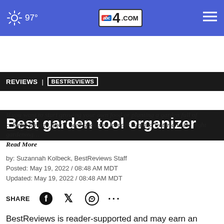97° | abc4.com
REVIEWS | BESTREVIEWS
Best garden tool organizer
If you want to start growing your own food or planting a garden full of colorful flowers, you'll need good soil, proper sun and water and the right gardening… Read More
by: Suzannah Kolbeck, BestReviews Staff
Posted: May 19, 2022 / 08:48 AM MDT
Updated: May 19, 2022 / 08:48 AM MDT
SHARE
BestReviews is reader-supported and may earn an affiliate commission. Details.